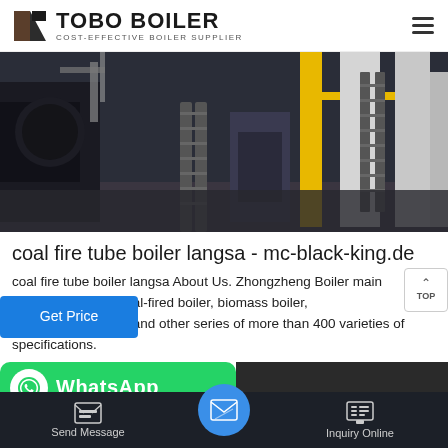TOBO BOILER - COST-EFFECTIVE BOILER SUPPLIER
[Figure (photo): Industrial boiler room with ladders, pipes, yellow columns, and boiler equipment]
coal fire tube boiler langsa - mc-black-king.de
coal fire tube boiler langsa About Us. Zhongzheng Boiler main de gas&oil boiler, coal-fired boiler, biomass boiler, eater and other series of more than 400 varieties of specifications.
[Figure (screenshot): WhatsApp contact bar with green background and WhatsApp logo]
Send Message | Inquiry Online